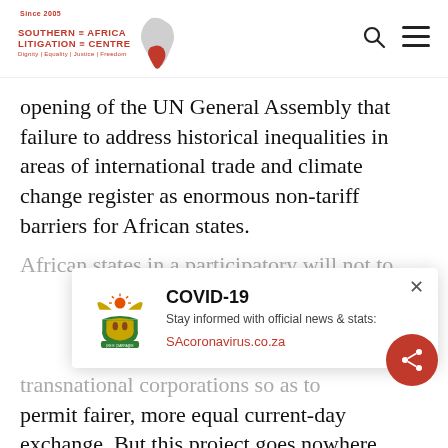Southern Africa Litigation Centre — Since 2005 — Dignity | Equality | Justice | Freedom
opening of the UN General Assembly that failure to address historical inequalities in areas of international trade and climate change register as enormous non-tariff barriers for African states.
[Figure (infographic): COVID-19 popup notification with South Africa coat of arms, text: 'Stay informed with official news & stats: SAcoronavirus.co.za']
transnational corporations so as to permit fairer, more equal current-day exchange. But this project goes nowhere if the first step is destroyed by those who stand to be its greatest beneficiaries – African states.